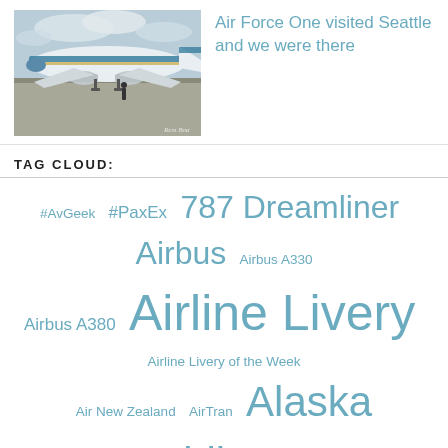[Figure (photo): Air Force One airplane on tarmac at Seattle airport, blue and white livery, cloudy sky background, a person standing near the plane]
Air Force One visited Seattle and we were there
TAG CLOUD:
#AvGeek  #PaxEx  787 Dreamliner  Airbus  Airbus A330  Airbus A380  Airline Livery  Airline Livery of the Week  Air New Zealand  AirTran  Alaska Airlines  All Nippon Airways  Amenities  American Airlines  ANA  Boeing  Boeing 737  Boeing 747-8  Boeing 747-8 Intercontinental  Boeing 747-8I  Boeing 757  Boeing 777  Boeing 777-300ER  Boeing 787  Boeing 787 Dreamliner  Boeing Field  British Airways